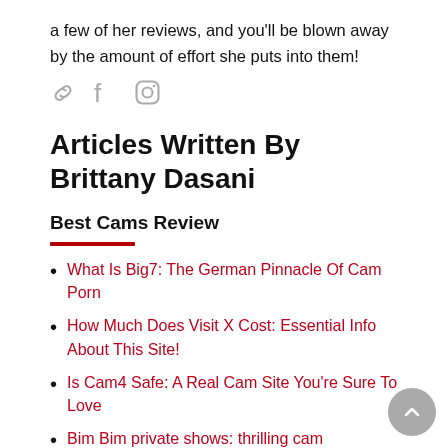a few of her reviews, and you'll be blown away by the amount of effort she puts into them!
[Figure (other): Social icons: link/chain icon, Facebook icon, Instagram icon]
Articles Written By Brittany Dasani
Best Cams Review
What Is Big7: The German Pinnacle Of Cam Porn
How Much Does Visit X Cost: Essential Info About This Site!
Is Cam4 Safe: A Real Cam Site You're Sure To Love
Bim Bim private shows: thrilling cam experience 27/4
RoyalCams Cam Site: Is It A Live Cam Site Worth Your